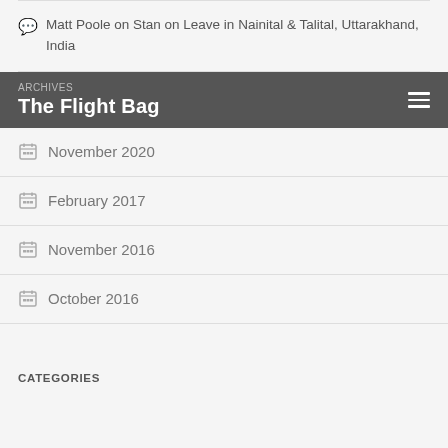Matt Poole on Stan on Leave in Nainital & Talital, Uttarakhand, India
ARCHIVES / The Flight Bag
November 2020
February 2017
November 2016
October 2016
CATEGORIES